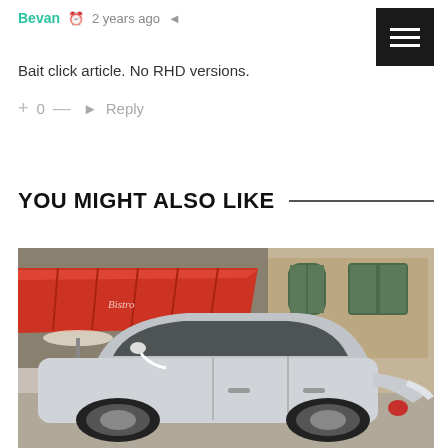Bevan  ⏱ 2 years ago  🔗
Bait click article. No RHD versions.
+ 0 —  ➜ Reply
YOU MIGHT ALSO LIKE
[Figure (photo): A silver Mazda MX-30 electric SUV parked on a street in front of a building with red awnings and arched windows.]